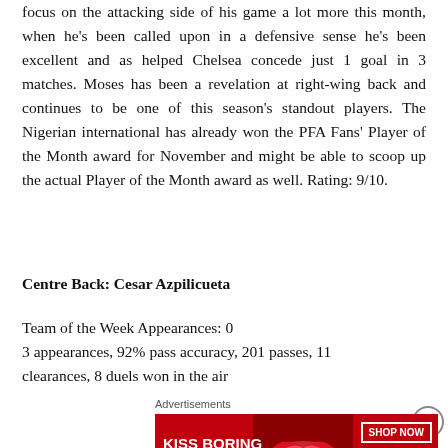focus on the attacking side of his game a lot more this month, when he's been called upon in a defensive sense he's been excellent and as helped Chelsea concede just 1 goal in 3 matches. Moses has been a revelation at right-wing back and continues to be one of this season's standout players. The Nigerian international has already won the PFA Fans' Player of the Month award for November and might be able to scoop up the actual Player of the Month award as well. Rating: 9/10.
Centre Back: Cesar Azpilicueta
Team of the Week Appearances: 0
3 appearances, 92% pass accuracy, 201 passes, 11 clearances, 8 duels won in the air
[Figure (other): Advertisement banner for Macy's lipstick promotion with text 'KISS BORING LIPS GOODBYE' and 'SHOP NOW' button with Macy's star logo on red background]